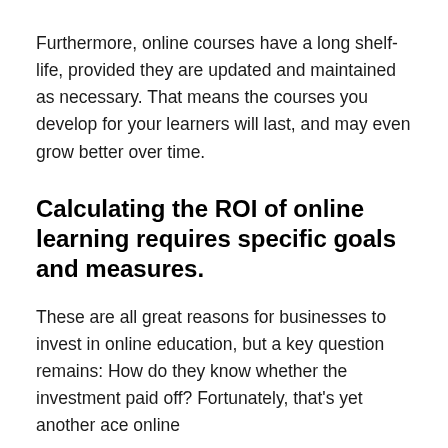Furthermore, online courses have a long shelf-life, provided they are updated and maintained as necessary. That means the courses you develop for your learners will last, and may even grow better over time.
Calculating the ROI of online learning requires specific goals and measures.
These are all great reasons for businesses to invest in online education, but a key question remains: How do they know whether the investment paid off? Fortunately, that's yet another ace online